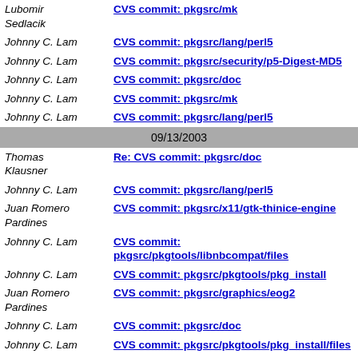Lubomir Sedlacik | CVS commit: pkgsrc/mk
Johnny C. Lam | CVS commit: pkgsrc/lang/perl5
Johnny C. Lam | CVS commit: pkgsrc/security/p5-Digest-MD5
Johnny C. Lam | CVS commit: pkgsrc/doc
Johnny C. Lam | CVS commit: pkgsrc/mk
Johnny C. Lam | CVS commit: pkgsrc/lang/perl5
09/13/2003
Thomas Klausner | Re: CVS commit: pkgsrc/doc
Johnny C. Lam | CVS commit: pkgsrc/lang/perl5
Juan Romero Pardines | CVS commit: pkgsrc/x11/gtk-thinice-engine
Johnny C. Lam | CVS commit: pkgsrc/pkgtools/libnbcompat/files
Johnny C. Lam | CVS commit: pkgsrc/pkgtools/pkg_install
Juan Romero Pardines | CVS commit: pkgsrc/graphics/eog2
Johnny C. Lam | CVS commit: pkgsrc/doc
Johnny C. Lam | CVS commit: pkgsrc/pkgtools/pkg_install/files